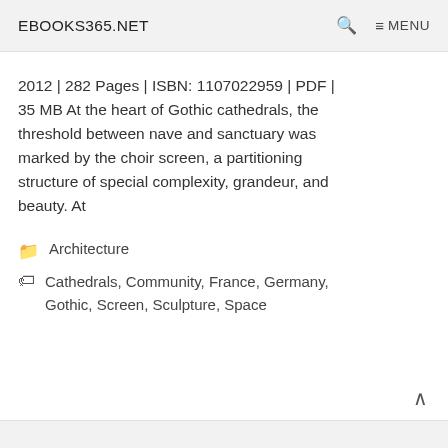EBOOKS365.NET    🔍    ≡ MENU
2012 | 282 Pages | ISBN: 1107022959 | PDF | 35 MB At the heart of Gothic cathedrals, the threshold between nave and sanctuary was marked by the choir screen, a partitioning structure of special complexity, grandeur, and beauty. At
Architecture
Cathedrals, Community, France, Germany, Gothic, Screen, Sculpture, Space